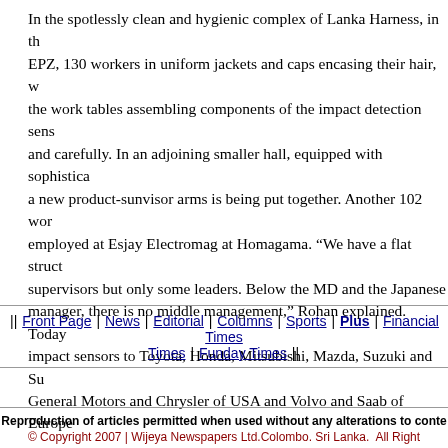In the spotlessly clean and hygienic complex of Lanka Harness, in the EPZ, 130 workers in uniform jackets and caps encasing their hair, w the work tables assembling components of the impact detection sens and carefully. In an adjoining smaller hall, equipped with sophistica a new product-sunvisor arms is being put together. Another 102 wor employed at Esjay Electromag at Homagama. "We have a flat struct supervisors but only some leaders. Below the MD and the Japanese manager, there is no middle management," Rohan explained. Today impact sensors to Toyota, Honda, Mitsubishi, Mazda, Suzuki and Su General Motors and Chrysler of USA and Volvo and Saab of Europe
Looking back on his achievements, Rohan says, "We've got to unde are a small country; we cannot compete with countries like India or quantity. We have to concentrate more on quality and differentiation production."
To    E-mail
|| Front Page | News | Editorial | Columns | Sports | Plus | Financial Times Times | Funday Times ||
Reproduction of articles permitted when used without any alterations to conte © Copyright 2007 | Wijeya Newspapers Ltd.Colombo. Sri Lanka. All Right